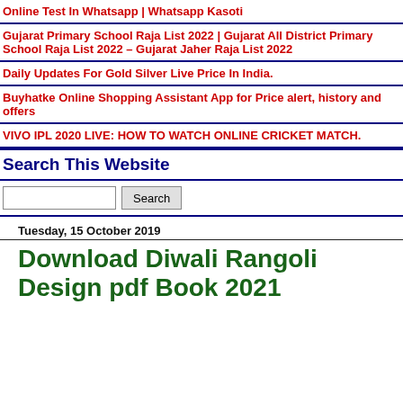Online Test In Whatsapp | Whatsapp Kasoti
Gujarat Primary School Raja List 2022 | Gujarat All District Primary School Raja List 2022 – Gujarat Jaher Raja List 2022
Daily Updates For Gold Silver Live Price In India.
Buyhatke Online Shopping Assistant App for Price alert, history and offers
VIVO IPL 2020 LIVE: HOW TO WATCH ONLINE CRICKET MATCH.
Search This Website
Search
Tuesday, 15 October 2019
Download Diwali Rangoli Design pdf Book 2021